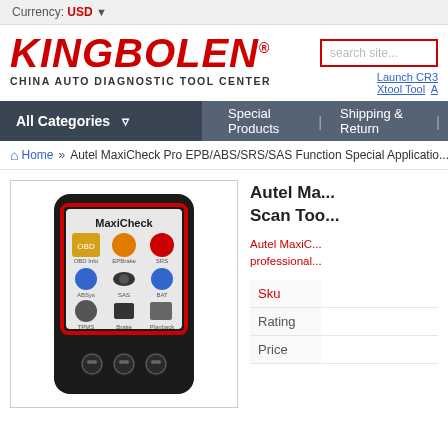Currency: USD ▼
[Figure (logo): KINGBOLEN logo with registered trademark symbol and tagline CHINA AUTO DIAGNOSTIC TOOL CENTER]
search site...
Launch CR3 Xtool Tool A
All Categories ▼   Special Products  |  Shipping & Return  |
Home » Autel MaxiCheck Pro EPB/ABS/SRS/SAS Function Special Applicatio...
[Figure (photo): Autel MaxiCheck Pro scan tool device showing screen with MaxiCheck branding and multiple function icons]
Autel Ma... Scan Too...
Autel MaxiC... professional...
|  |  |
| --- | --- |
| Sku |  |
| Rating |  |
| Price |  |